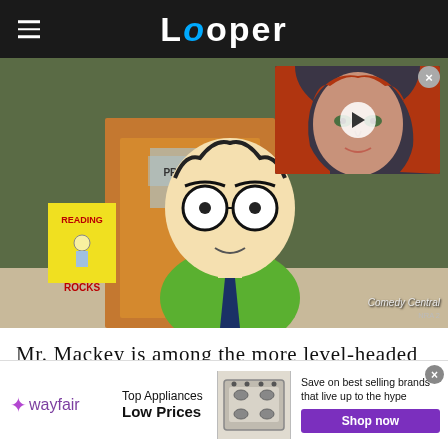Looper
[Figure (screenshot): South Park animated scene showing Mr. Mackey in principal's office with 'Reading Rocks' poster and 'PRINCIPAL' sign on door, overlaid with a video player thumbnail showing a red-haired woman. Comedy Central watermark visible. Close button in top right corner.]
Mr. Mackey is among the more level-headed and responsible staff members at South Park
[Figure (infographic): Wayfair advertisement banner: Top Appliances Low Prices, Save on best selling brands that live up to the hype. Shop now button. Image of stove/range appliance.]